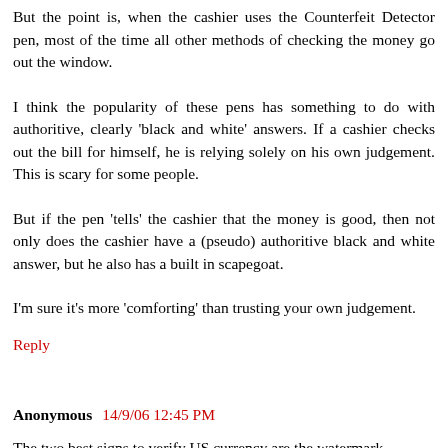not sure about the older bills.)
But the point is, when the cashier uses the Counterfeit Detector pen, most of the time all other methods of checking the money go out the window.
I think the popularity of these pens has something to do with authoritive, clearly 'black and white' answers. If a cashier checks out the bill for himself, he is relying solely on his own judgement. This is scary for some people.
But if the pen 'tells' the cashier that the money is good, then not only does the cashier have a (pseudo) authoritive black and white answer, but he also has a built in scapegoat.
I'm sure it's more 'comforting' than trusting your own judgement.
Reply
Anonymous 14/9/06 12:45 PM
The two best signs to verify US currency are the watermark